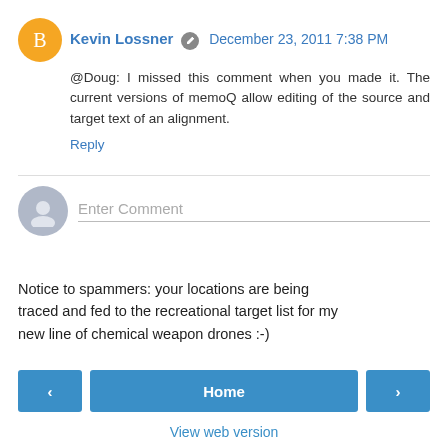Kevin Lossner  December 23, 2011 7:38 PM
@Doug: I missed this comment when you made it. The current versions of memoQ allow editing of the source and target text of an alignment.
Reply
Enter Comment
Notice to spammers: your locations are being traced and fed to the recreational target list for my new line of chemical weapon drones :-)
‹
Home
›
View web version